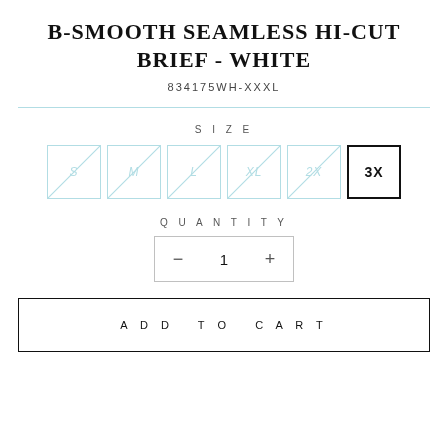B-SMOOTH SEAMLESS HI-CUT BRIEF - WHITE
834175WH-XXXL
SIZE
S M L XL 2X 3X (size selector, 3X selected)
QUANTITY
- 1 +
ADD TO CART